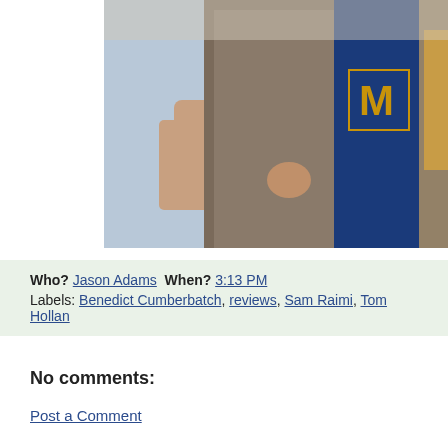[Figure (photo): Cropped photo showing three people standing together; one in a blue/yellow varsity jacket with letter M, one in a tweed jacket holding something, one in a light blue shirt. Indoor setting visible in background.]
Who? Jason Adams  When? 3:13 PM
Labels: Benedict Cumberbatch, reviews, Sam Raimi, Tom Holland
No comments:
Post a Comment